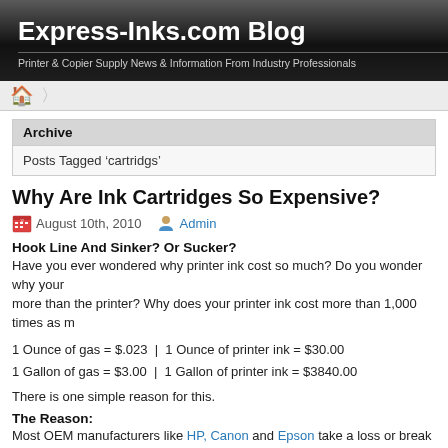Express-Inks.com Blog
Printer & Copier Supply News & Information From Industry Professionals
Archive
Posts Tagged 'cartridgs'
Why Are Ink Cartridges So Expensive?
August 10th, 2010  Admin
Hook Line And Sinker? Or Sucker?
Have you ever wondered why printer ink cost so much? Do you wonder why your ink costs more than the printer? Why does your printer ink cost more than 1,000 times as m
1 Ounce of gas = $.023  |  1 Ounce of printer ink = $30.00
1 Gallon of gas = $3.00  |  1 Gallon of printer ink = $3840.00
There is one simple reason for this.
The Reason:
Most OEM manufacturers like HP, Canon and Epson take a loss or break even w